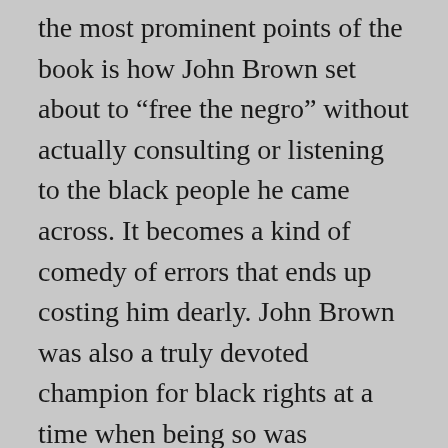the most prominent points of the book is how John Brown set about to “free the negro” without actually consulting or listening to the black people he came across. It becomes a kind of comedy of errors that ends up costing him dearly. John Brown was also a truly devoted champion for black rights at a time when being so was perilous. As he said to his sons, “I have only a short time to live, and I will die fighting for this cause. There will be no peace in this land until slavery is done…Stay here if you want. If you’re lucky, you’ll find a cause worth dying for.”